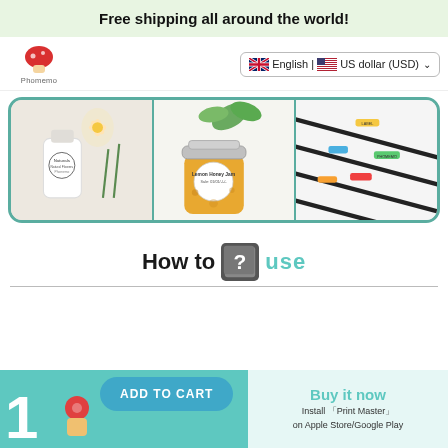Free shipping all around the world!
[Figure (logo): Phomemo brand logo: red mushroom icon above text 'Phomemo']
English | US dollar (USD)
[Figure (photo): Three product images in a teal-bordered carousel: a glass bottle with label, a jar of honey with eucalyptus, and colored cable ties on white background]
How to use
ADD TO CART
Buy it now
Install 「Print Master」on Apple Store/Google Play